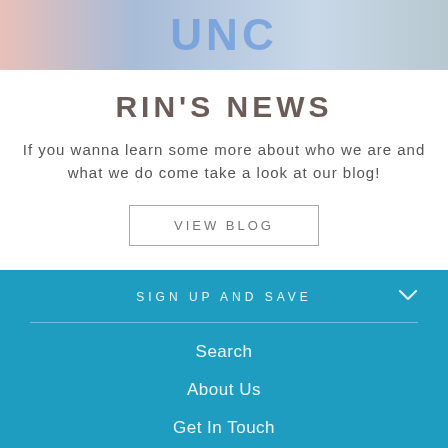[Figure (photo): Partial photo of people wearing blue tops, cropped at top of page]
RIN'S NEWS
If you wanna learn some more about who we are and what we do come take a look at our blog!
VIEW BLOG
SIGN UP AND SAVE
Search
About Us
Get In Touch
Blog